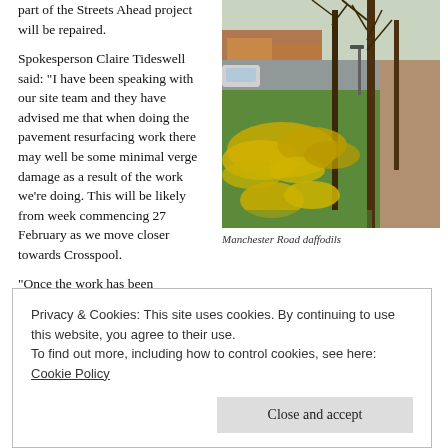part of the Streets Ahead project will be repaired.
Spokesperson Claire Tideswell said: “I have been speaking with our site team and they have advised me that when doing the pavement resurfacing work there may well be some minimal verge damage as a result of the work we’re doing. This will be likely from week commencing 27 February as we move closer towards Crosspool.
[Figure (photo): A street-side path lined with yellow daffodils growing in a green verge, with bare trees and residential houses visible in the background. Manchester Road daffodils.]
Manchester Road daffodils
“Once the work has been
Privacy & Cookies: This site uses cookies. By continuing to use this website, you agree to their use.
To find out more, including how to control cookies, see here: Cookie Policy
Close and accept